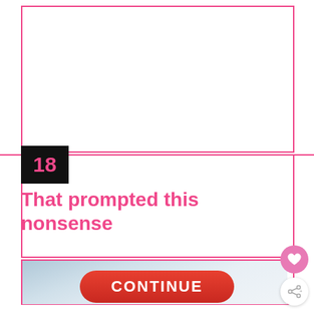[Figure (other): Empty white box with pink border at top of page]
18
That prompted this nonsense
[Figure (photo): Partial photo showing a blurred light gray and white surface, possibly a desk or table]
CONTINUE